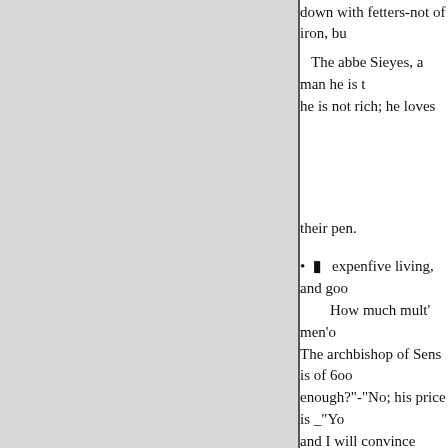down with fetters-not of iron, bu
The abbe Sieyes, a man he is t he is not rich; he loves
their pen.
expenfive living, and goo
How much mult' men'o The archbishop of Sens is of 6oo enough?"-"No; his price is _"Yo and I will convince then:"-" That annuity, give him' much in the w of his not below extraction, and
mad is, that he thinks highly of h abbey, and you will be sure of be t he has heard a great deal of the
you gociation?" "No, I cannot ; b known service to the adminiftrat king, and our Provincial assembl